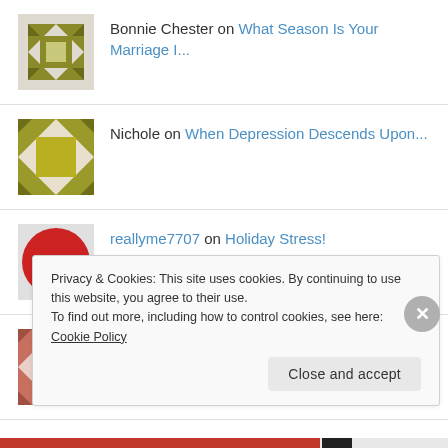Bonnie Chester on What Season Is Your Marriage I...
Nichole on When Depression Descends Upon...
reallyme7707 on Holiday Stress!
Margaret Ann Underwo... on "Gratitude And Giving Th..."
Privacy & Cookies: This site uses cookies. By continuing to use this website, you agree to their use.
To find out more, including how to control cookies, see here: Cookie Policy
Close and accept